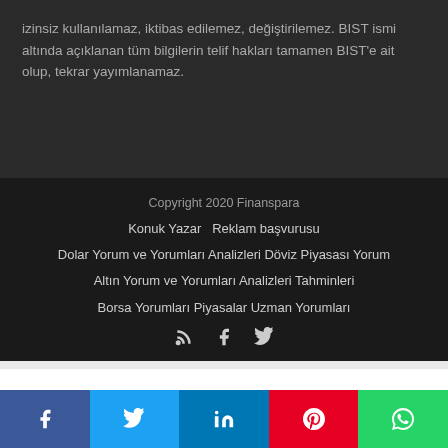izinsiz kullanılamaz, iktibas edilemez, değiştirilemez. BIST ismi altında açıklanan tüm bilgilerin telif hakları tamamen BIST'e ait olup, tekrar yayımlanamaz.
Copyright 2020 Finanspara
Konuk Yazar   Reklam başvurusu
Dolar Yorum ve Yorumları Analizleri Döviz Piyasası Yorum
Altın Yorum ve Yorumları Analizleri Tahminleri
Borsa Yorumları Piyasalar Uzman Yorumları
[Figure (other): Social media icons: RSS feed, Facebook, Twitter]
[Figure (other): Share buttons bar: Facebook, Twitter, LinkedIn, Pinterest, WhatsApp]